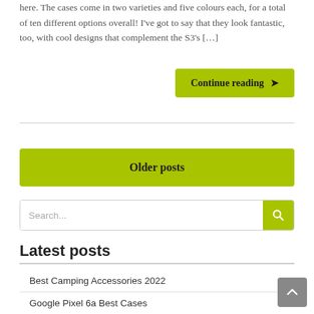here. The cases come in two varieties and five colours each, for a total of ten different options overall! I've got to say that they look fantastic, too, with cool designs that complement the S3's […]
Continue reading ›
Older posts
Search...
Latest posts
Best Camping Accessories 2022
Google Pixel 6a Best Cases